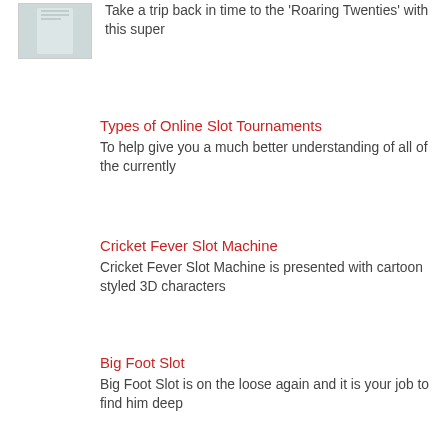[Figure (photo): Thumbnail photo showing white fabric or clothing item]
Take a trip back in time to the Roaring Twenties with this super
Types of Online Slot Tournaments
To help give you a much better understanding of all of the currently
Cricket Fever Slot Machine
Cricket Fever Slot Machine is presented with cartoon styled 3D characters
Big Foot Slot
Big Foot Slot is on the loose again and it is your job to find him deep
Monster Millions Slot Review
Monster Millions Slot gives over one million reasons